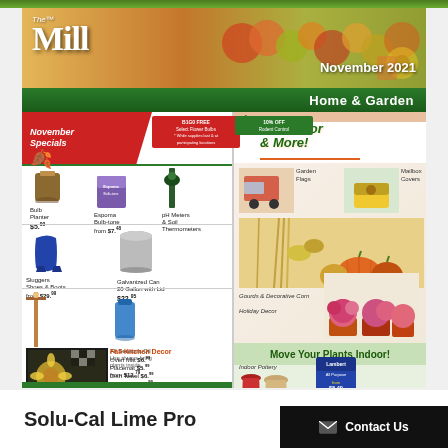[Figure (illustration): The Mill Home & Garden store flyer for November 2021 showing fall produce and harvest items in header photo]
The Mill™ — November 2021
Home & Garden
November Specials
B1G0 FREE Select Flower Bulbs
10% OFF Rodent Control
Bulb Planter $5.99
Espoma Bulb-tone from $7.48
pH Meters & Soil Thermometers
Sluggers Shoes & Boots from $29.99
Galvanized Can 20 Gallon with Lid $22.95
All Seasons Oil Use always bring plants inside from $12.79
Wooden Scare-A-Crow $29.99
Fall Kitchen Decor
Oven Mitt $6.99
Placemat $5.99
Dish Towel $6.99
Pot Holder $5.99
Flowers, Pottery, Garden Supplies & More!
Fall Decor & More!
Garden Flags
Mailbox Covers
Gourds & Decorative Corn
Holiday Decor
Move Your Plants Indoor!
Indoor Pottery
Lambert All Purpose from $5.49
Solu-Cal Lime Pro
Contact Us